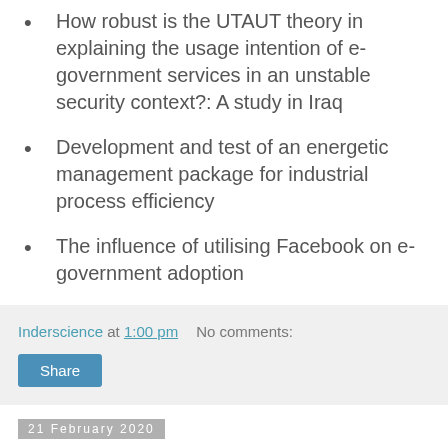How robust is the UTAUT theory in explaining the usage intention of e-government services in an unstable security context?: A study in Iraq
Development and test of an energetic management package for industrial process efficiency
The influence of utilising Facebook on e-government adoption
Inderscience at 1:00 pm   No comments:
Share
21 February 2020
World Review of Science, Technology and Sustainable Development to invite expanded papers from 1st International Conference on Maritime Studies and